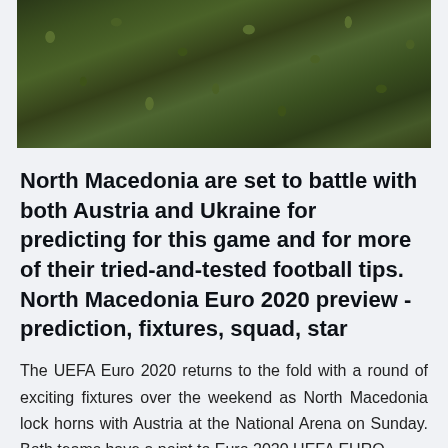[Figure (photo): Aerial view of dense green tree canopy / forest foliage seen from above]
North Macedonia are set to battle with both Austria and Ukraine for predicting for this game and for more of their tried-and-tested football tips. North Macedonia Euro 2020 preview - prediction, fixtures, squad, star
The UEFA Euro 2020 returns to the fold with a round of exciting fixtures over the weekend as North Macedonia lock horns with Austria at the National Arena on Sunday. Both teams have a point to Euro 2020 UEFA EURO